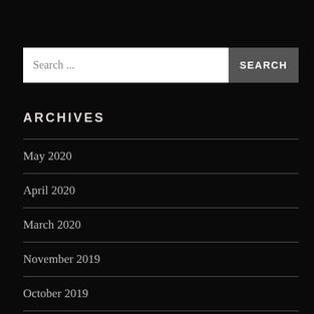Search ...
ARCHIVES
May 2020
April 2020
March 2020
November 2019
October 2019
March 2019
November 2018